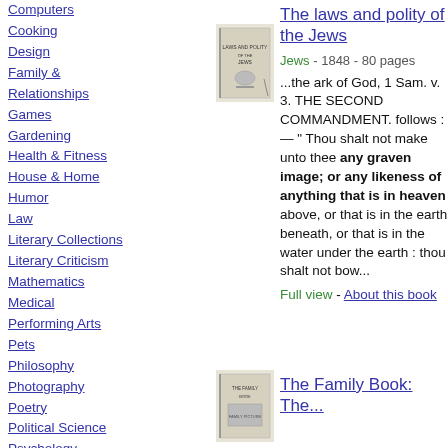Computers
Cooking
Design
Family & Relationships
Games
Gardening
Health & Fitness
House & Home
Humor
Law
Literary Collections
Literary Criticism
Mathematics
Medical
Performing Arts
Pets
Philosophy
Photography
Poetry
Political Science
Psychology
Religion
[Figure (photo): Book cover thumbnail for The laws and polity of the Jews]
The laws and polity of the Jews
Jews - 1848 - 80 pages
...the ark of God, 1 Sam. v. 3. THE SECOND COMMANDMENT. follows : — " Thou shalt not make unto thee any graven image; or any likeness of anything that is in heaven above, or that is in the earth beneath, or that is in the water under the earth : thou shalt not bow...
Full view - About this book
[Figure (photo): Book cover thumbnail for The Family Book]
The Family Book: The...